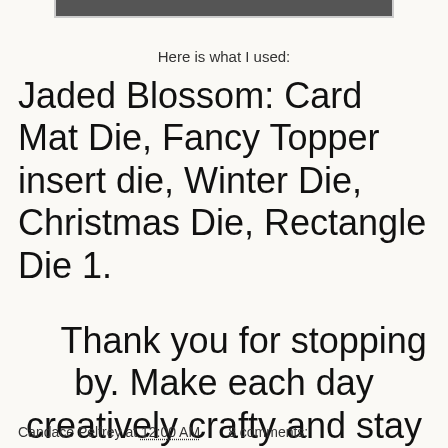[Figure (photo): Partial photo strip at top of page, cropped image visible at top edge]
Here is what I used:
Jaded Blossom: Card Mat Die, Fancy Topper insert die, Winter Die, Christmas Die, Rectangle Die 1.
Thank you for stopping by. Make each day creatively crafty and stay tuned for more craftiness!
~Katie Sr
Candace Pelfrey at 12:00 AM    8 comments: